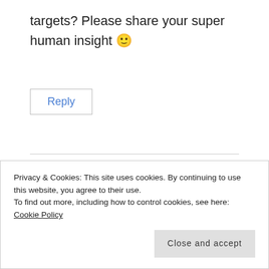targets? Please share your super human insight 🙂
Reply
Green Girl in Wisconsin says:
SUPER FABULOUS!
Privacy & Cookies: This site uses cookies. By continuing to use this website, you agree to their use.
To find out more, including how to control cookies, see here: Cookie Policy
Close and accept